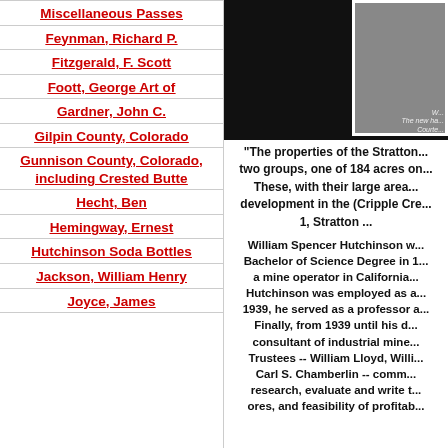Miscellaneous Passes
Feynman, Richard P.
Fitzgerald, F. Scott
Foott, George Art of
Gardner, John C.
Gilpin County, Colorado
Gunnison County, Colorado, including Crested Butte
Hecht, Ben
Hemingway, Ernest
Hutchinson Soda Bottles
Jackson, William Henry
Joyce, James
[Figure (photo): Black and white photo partially visible on right side with caption referencing 'The new ha... Courte...']
"The properties of the Stratton... two groups, one of 184 acres on... These, with their large area... development in the (Cripple Cre... 1, Stratton ...
William Spencer Hutchinson w... Bachelor of Science Degree in 1... a mine operator in California... Hutchinson was employed as a... 1939, he served as a professor a... Finally, from 1939 until his d... consultant of industrial mine... Trustees -- William Lloyd, Willi... Carl S. Chamberlin -- comm... research, evaluate and write t... ores, and feasibility of profitab...